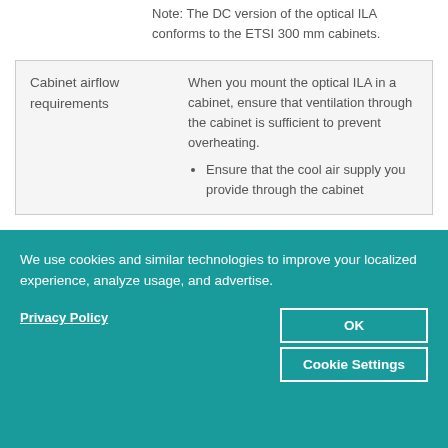Note: The DC version of the optical ILA conforms to the ETSI 300 mm cabinets.
| Cabinet airflow requirements | When you mount the optical ILA in a cabinet, ensure that ventilation through the cabinet is sufficient to prevent overheating.
• Ensure that the cool air supply you provide through the cabinet |
We use cookies and similar technologies to improve your localized experience, analyze usage, and advertise.
Privacy Policy
OK
Cookie Settings